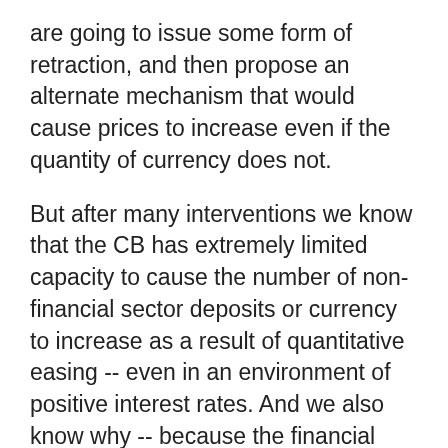are going to issue some form of retraction, and then propose an alternate mechanism that would cause prices to increase even if the quantity of currency does not.
But after many interventions we know that the CB has extremely limited capacity to cause the number of non-financial sector deposits or currency to increase as a result of quantitative easing -- even in an environment of positive interest rates. And we also know why -- because the financial sector will for the most part undo whatever